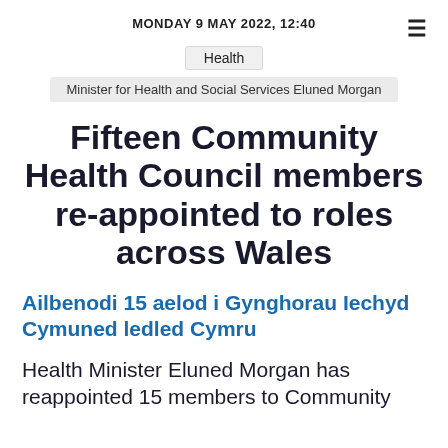MONDAY 9 MAY 2022, 12:40
Health
Minister for Health and Social Services Eluned Morgan
Fifteen Community Health Council members re-appointed to roles across Wales
Ailbenodi 15 aelod i Gynghorau Iechyd Cymuned ledled Cymru
Health Minister Eluned Morgan has reappointed 15 members to Community